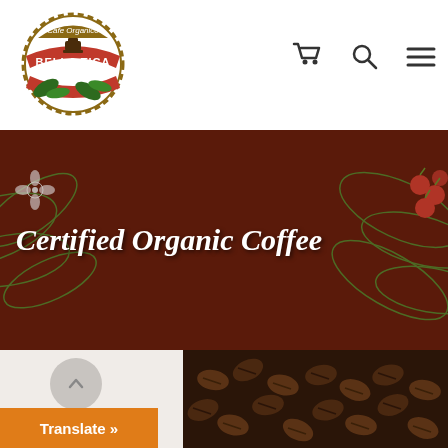[Figure (logo): Bella Tica Cafe Organico circular logo with red banner and coffee mortar]
[Figure (infographic): Shopping cart icon, search/magnifying glass icon, and hamburger menu icon for navigation]
[Figure (illustration): Dark brown hero banner with green coffee plant leaf illustrations on both sides and red coffee cherries on the right]
Certified Organic Coffee
[Figure (photo): Coffee beans close-up photo in lower right portion]
Translate »